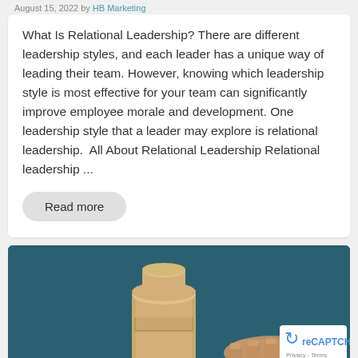August 15, 2022 by HB Marketing
What Is Relational Leadership? There are different leadership styles, and each leader has a unique way of leading their team. However, knowing which leadership style is most effective for your team can significantly improve employee morale and development. One leadership style that a leader may explore is relational leadership.  All About Relational Leadership Relational leadership ...
Read more
[Figure (photo): A hand placing or pressing a wooden cylindrical block on a teal/dark blue background, with a captcha/reCAPTCHA badge overlay in the bottom right corner showing Privacy - Terms text.]